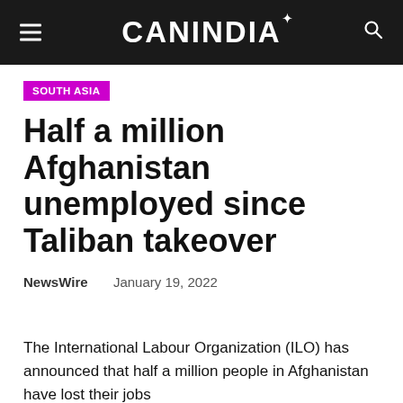CANINDIA
SOUTH ASIA
Half a million Afghanistan unemployed since Taliban takeover
NewsWire   January 19, 2022
The International Labour Organization (ILO) has announced that half a million people in Afghanistan have lost their jobs